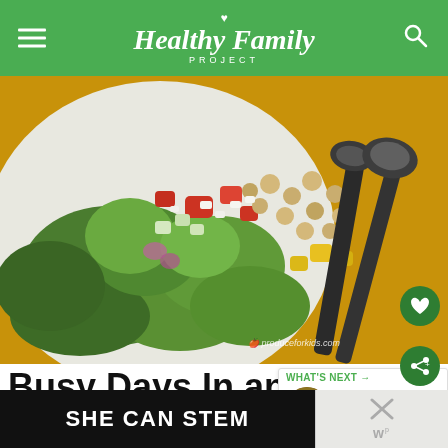Healthy Family PROJECT
[Figure (photo): Close-up photo of a colorful salad in a white bowl with romaine lettuce, chickpeas, tomatoes, cucumbers, feta cheese, and yellow peppers, with dark metal serving spoons on a yellow napkin. Watermark: produceforkids.com]
Busy Days In and Out
Whether you’re visiting a local museum or
[Figure (infographic): WHAT'S NEXT -> Fun & Healthy Thanksgivin... panel with circular food photo]
[Figure (screenshot): SHE CAN STEM banner advertisement in black with white bold text]